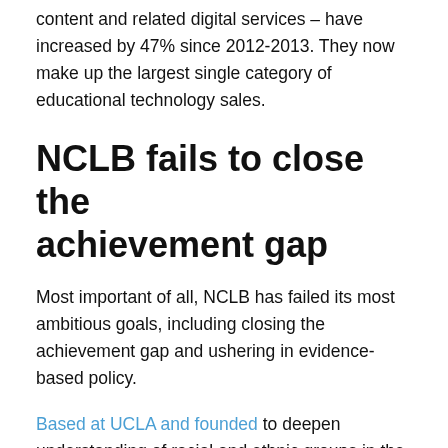content and related digital services – have increased by 47% since 2012-2013. They now make up the largest single category of educational technology sales.
NCLB fails to close the achievement gap
Most important of all, NCLB has failed its most ambitious goals, including closing the achievement gap and ushering in evidence-based policy.
Based at UCLA and founded to deepen understanding of racial and ethnic groups in the United States, the Civil Rights Project and FairTest, a program that works to end the misuses and flaws of standardized testing, after a careful analysis of National Assessment of Educational Progress (NAEP) data, reveal that the achievement gap, which appeared to be closing before the accountability era, stopped closing once